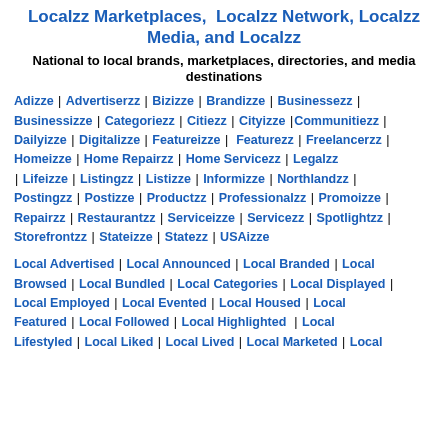Localzz Marketplaces, Localzz Network, Localzz Media, and Localzz
National to local brands, marketplaces, directories, and media destinations
Adizze | Advertiserzz | Bizizze | Brandizze | Businessezz | Businessizze | Categoriezz | Citiezz | Cityizze | Communitiezz | Dailyizze | Digitalizze | Featureizze | Featurezz | Freelancerzz | Homeizze | Home Repairzz | Home Servicezz | Legalzz | Lifeizze | Listingzz | Listizze | Informizze | Northlandzz | Postingzz | Postizze | Productzz | Professionalzz | Promoizze | Repairzz | Restaurantzz | Serviceizze | Servicezz | Spotlightzz | Storefrontzz | Stateizze | Statezz | USAizze
Local Advertised | Local Announced | Local Branded | Local Browsed | Local Bundled | Local Categories | Local Displayed | Local Employed | Local Evented | Local Housed | Local Featured | Local Followed | Local Highlighted | Local Lifestyled | Local Liked | Local Lived | Local Marketed | Local